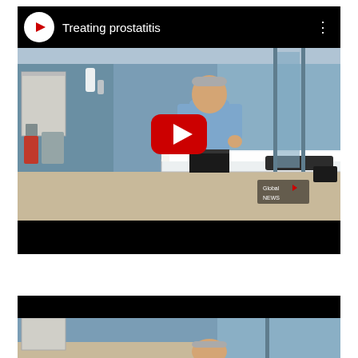[Figure (screenshot): YouTube video thumbnail titled 'Treating prostatitis' showing a doctor in a blue shirt standing beside an examination table with a patient lying on it, in a medical room with blue walls. Has YouTube play button overlay and Global News logo watermark.]
[Figure (screenshot): Second YouTube video thumbnail partially visible at bottom, showing the beginning of a similar medical room scene with a person visible.]